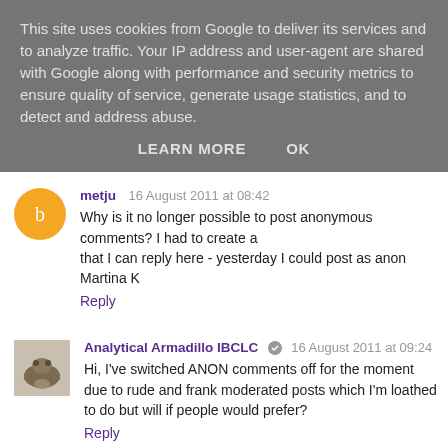This site uses cookies from Google to deliver its services and to analyze traffic. Your IP address and user-agent are shared with Google along with performance and security metrics to ensure quality of service, generate usage statistics, and to detect and address abuse.
LEARN MORE   OK
metju  16 August 2011 at 08:42
Why is it no longer possible to post anonymous comments? I had to create a that I can reply here - yesterday I could post as anon
Martina K
Reply
Analytical Armadillo IBCLC  16 August 2011 at 09:24
Hi, I've switched ANON comments off for the moment due to rude and frank moderated posts which I'm loathed to do but will if people would prefer?
Reply
Analytical Armadillo IBCLC  16 August 2011 at 09:32
PS you can sign in with a google account, OpenID etc not just a blog :)